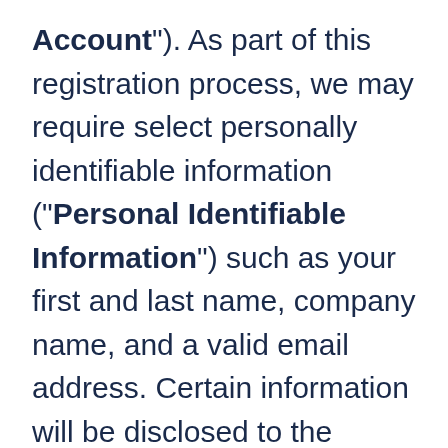Account"). As part of this registration process, we may require select personally identifiable information (“Personal Identifiable Information”) such as your first and last name, company name, and a valid email address. Certain information will be disclosed to the